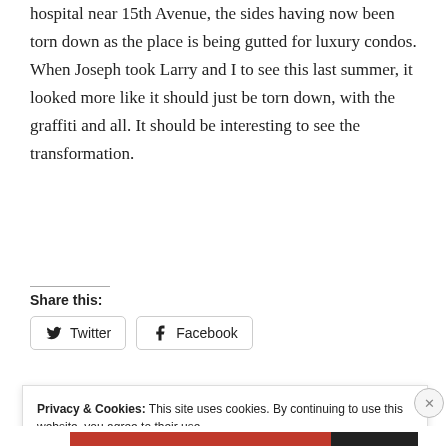hospital near 15th Avenue, the sides having now been torn down as the place is being gutted for luxury condos. When Joseph took Larry and I to see this last summer, it looked more like it should just be torn down, with the graffiti and all. It should be interesting to see the transformation.
Share this:
Twitter  Facebook
Privacy & Cookies: This site uses cookies. By continuing to use this website, you agree to their use. To find out more, including how to control cookies, see here: Cookie Policy
Close and accept